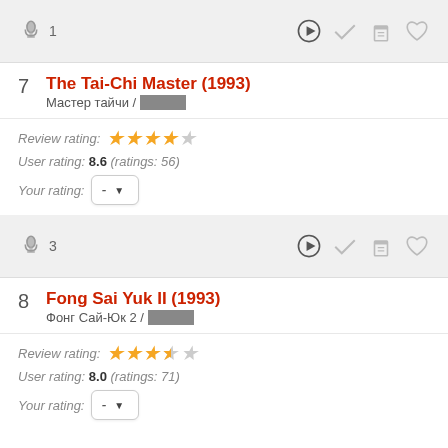[Figure (screenshot): Toolbar with microphone icon numbered 1, play button, checkmark, popcorn bucket, and heart icons]
7  The Tai-Chi Master (1993)
Мастер тайчи / █████
Review rating: ★★★★☆
User rating: 8.6 (ratings: 56)
Your rating: - ▼
[Figure (screenshot): Toolbar with microphone icon numbered 3, play button, checkmark, popcorn bucket, and heart icons]
8  Fong Sai Yuk II (1993)
Фонг Сай-Юк 2 / █████
Review rating: ★★★½☆
User rating: 8.0 (ratings: 71)
Your rating: - ▼